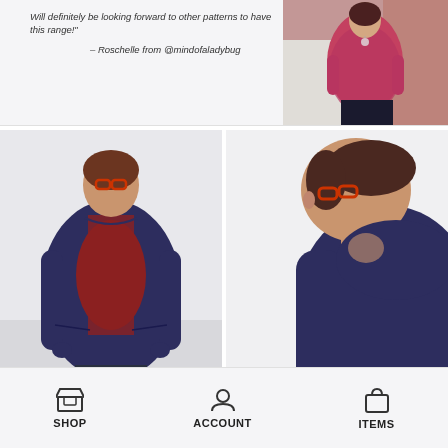Will definitely be looking forward to other patterns to have this range!"
– Roschelle from @mindofaladybug
[Figure (photo): Woman wearing a pink/red speckled open-front cardigan over a black top, standing outdoors in front of a brick wall]
[Figure (photo): Woman wearing a navy/dark purple open-front cardigan over a red top, standing facing front with hands in pockets]
[Figure (photo): Close-up side view of woman wearing a dark purple cardigan, wearing red-framed glasses]
SHOP  ACCOUNT  ITEMS